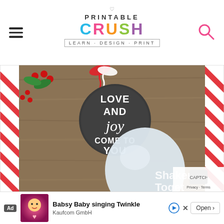Printable Crush — LEARN · DESIGN · PRINT
[Figure (photo): Christmas ornament/jar decorated with a round chalkboard tag reading 'LOVE AND joy COME TO YOU', tied with red and white baker's twine, surrounded by holly berries and red candy canes on a wooden surface. Watermark 'Shaken Toget...' in bottom right corner.]
[Figure (screenshot): Advertisement banner: Babsy Baby singing Twinkle by Kaufcom GmbH with Open button, play icon, and close X. Pink/purple background with baby illustration.]